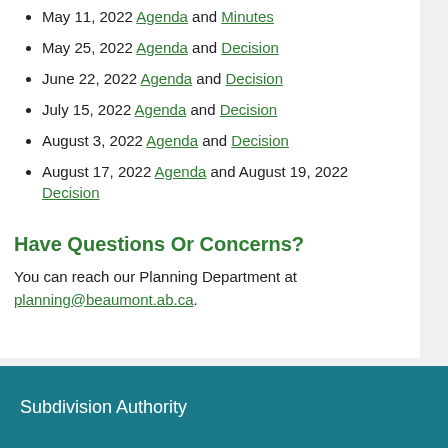May 11, 2022 Agenda and Minutes
May 25, 2022 Agenda and Decision
June 22, 2022 Agenda and Decision
July 15, 2022 Agenda and Decision
August 3, 2022 Agenda and Decision
August 17, 2022 Agenda and August 19, 2022 Decision
Have Questions Or Concerns?
You can reach our Planning Department at planning@beaumont.ab.ca.
Subdivision Authority